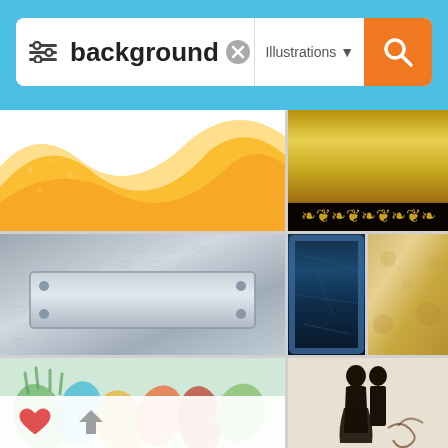[Figure (screenshot): Mobile app search interface showing a search bar with filter icon, query 'background', clear button, 'Illustrations' dropdown, and orange search button on a blue header background. Below are image search results in a grid layout showing: orange wave abstract background, gold ornate background, metal diamond plate with metal panel, blue grunge texture, parchment/old paper background, colorful handprints, and a couple silhouette. A heart and arrow overlay appears at the bottom left.]